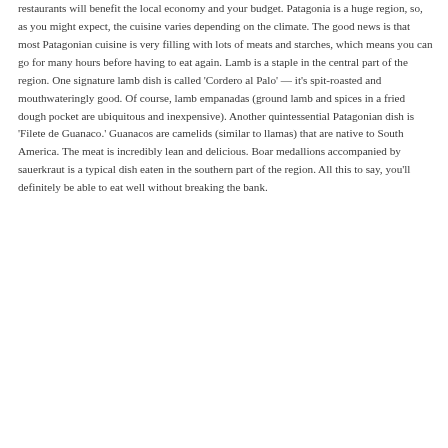restaurants will benefit the local economy and your budget. Patagonia is a huge region, so, as you might expect, the cuisine varies depending on the climate. The good news is that most Patagonian cuisine is very filling with lots of meats and starches, which means you can go for many hours before having to eat again. Lamb is a staple in the central part of the region. One signature lamb dish is called 'Cordero al Palo' — it's spit-roasted and mouthwateringly good. Of course, lamb empanadas (ground lamb and spices in a fried dough pocket are ubiquitous and inexpensive). Another quintessential Patagonian dish is 'Filete de Guanaco.' Guanacos are camelids (similar to llamas) that are native to South America. The meat is incredibly lean and delicious. Boar medallions accompanied by sauerkraut is a typical dish eaten in the southern part of the region. All this to say, you'll definitely be able to eat well without breaking the bank.